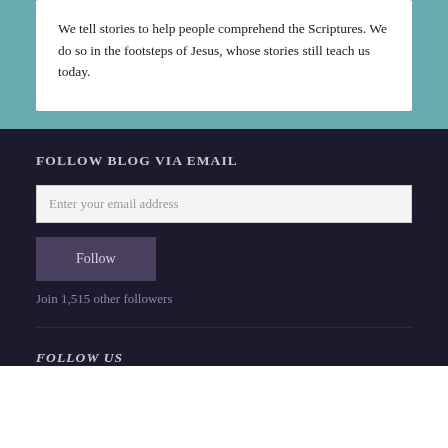We tell stories to help people comprehend the Scriptures. We do so in the footsteps of Jesus, whose stories still teach us today.
FOLLOW BLOG VIA EMAIL
Enter your email address
Follow
Join 1,515 other followers
FOLLOW US